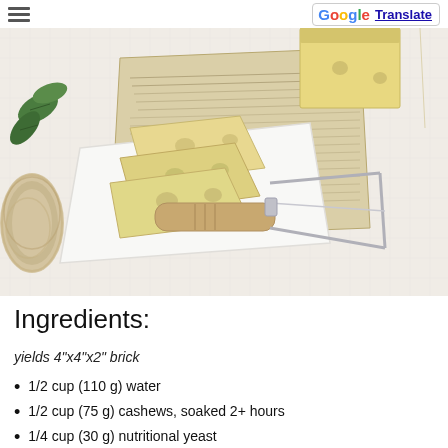Translate
[Figure (photo): Photo of Swiss-style vegan cheese slices on a white cutting board with a cheese wire slicer, green leaves, rope, and newspaper in the background on a white cloth.]
Ingredients:
yields 4"x4"x2" brick
1/2 cup (110 g) water
1/2 cup (75 g) cashews, soaked 2+ hours
1/4 cup (30 g) nutritional yeast